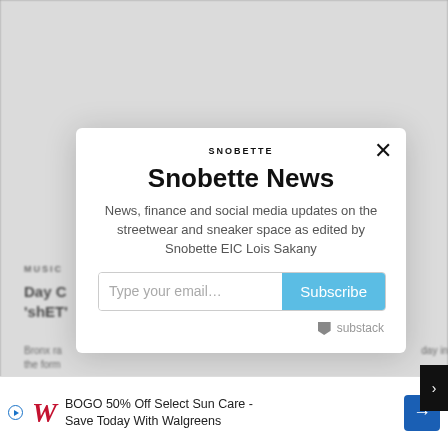[Figure (screenshot): Newsletter subscription modal popup for Snobette News on a blurred webpage background. The modal shows the Snobette logo, title 'Snobette News', description text about news finance and social media updates, an email input field, Subscribe button, and Substack branding. Background shows partial text about MUSIC section and article about 'Day C' and 'shET'. Bottom has a Walgreens advertisement.]
SNOBETTE
Snobette News
News, finance and social media updates on the streetwear and sneaker space as edited by Snobette EIC Lois Sakany
Type your email…
Subscribe
substack
MUSIC
Day C 'shET'
Bronx ra day in the form
BOGO 50% Off Select Sun Care - Save Today With Walgreens